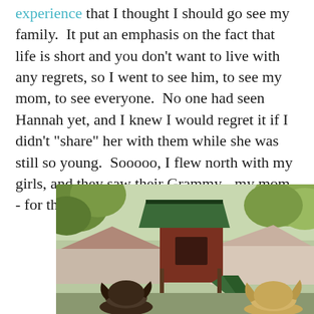experience that I thought I should go see my family.  It put an emphasis on the fact that life is short and you don't want to live with any regrets, so I went to see him, to see my mom, to see everyone.  No one had seen Hannah yet, and I knew I would regret it if I didn't "share" her with them while she was still so young.  Sooooo, I flew north with my girls, and they saw their Grammy - my mom - for the first time.
[Figure (photo): Outdoor photo taken from behind two children or young people with light/brown hair, looking toward a green-roofed wooden playhouse structure. Trees and suburban houses visible in background.]